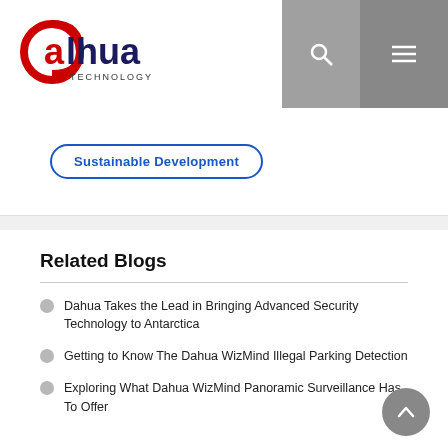[Figure (logo): Dahua Technology logo with red swirl and blue text]
Sustainable Development
Related Blogs
Dahua Takes the Lead in Bringing Advanced Security Technology to Antarctica
Getting to Know The Dahua WizMind Illegal Parking Detection
Exploring What Dahua WizMind Panoramic Surveillance Has To Offer